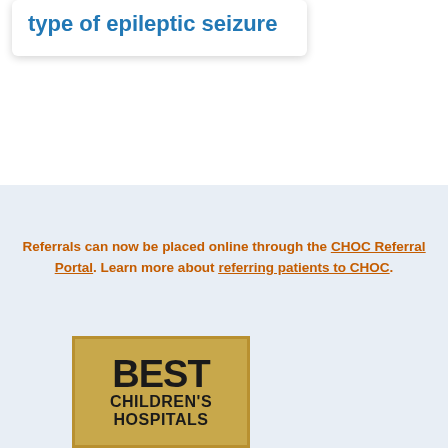type of epileptic seizure
Referrals can now be placed online through the CHOC Referral Portal. Learn more about referring patients to CHOC.
[Figure (logo): BEST CHILDREN'S HOSPITALS badge/logo in gold and black]